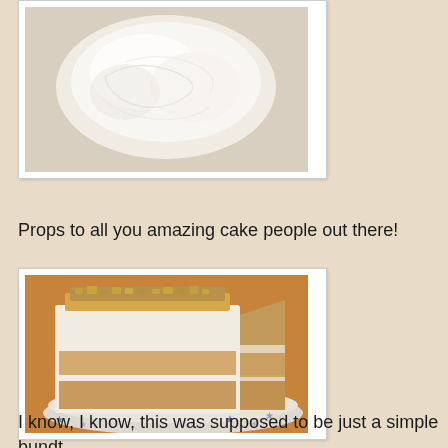[Figure (photo): Photo of a cake with white cream/frosting viewed from above, showing a smooth white surface, inside a white photo frame border]
Props to all you amazing cake people out there!
[Figure (photo): Photo of a layered cake with white frosting and chopped nuts on top, with a slice cut out showing the layers, sitting on a plate with blue star pattern, inside a white photo frame border]
I know, I know, this was supposed to be just a simple bundt